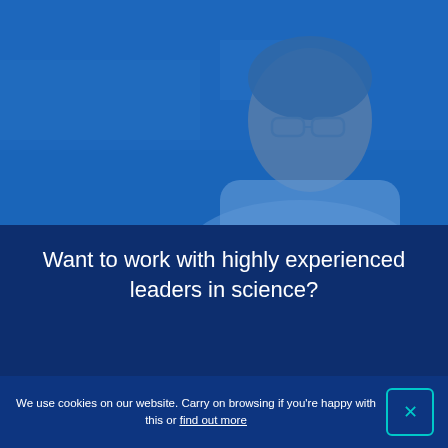[Figure (photo): A scientist or professional wearing glasses and a white lab coat, photographed from the shoulders up, with a blue overlay tint covering the entire image. Background shows a blurred laboratory or office setting.]
Want to work with highly experienced leaders in science?
We use cookies on our website. Carry on browsing if you're happy with this or find out more